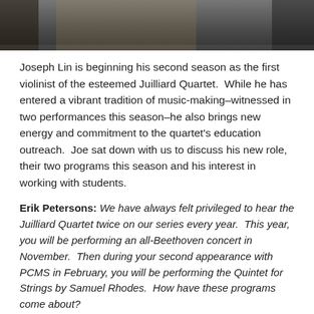[Figure (photo): Cropped photo strip showing musicians, partially visible at top of page]
Joseph Lin is beginning his second season as the first violinist of the esteemed Juilliard Quartet. While he has entered a vibrant tradition of music-making–witnessed in two performances this season–he also brings new energy and commitment to the quartet's education outreach. Joe sat down with us to discuss his new role, their two programs this season and his interest in working with students.
Erik Petersons: We have always felt privileged to hear the Juilliard Quartet twice on our series every year. This year, you will be performing an all-Beethoven concert in November. Then during your second appearance with PCMS in February, you will be performing the Quintet for Strings by Samuel Rhodes. How have these programs come about?